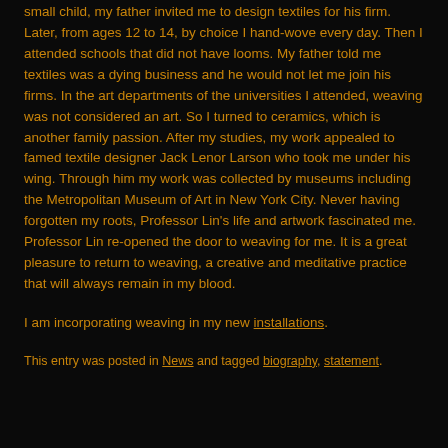small child, my father invited me to design textiles for his firm. Later, from ages 12 to 14, by choice I hand-wove every day. Then I attended schools that did not have looms. My father told me textiles was a dying business and he would not let me join his firms. In the art departments of the universities I attended, weaving was not considered an art. So I turned to ceramics, which is another family passion. After my studies, my work appealed to famed textile designer Jack Lenor Larson who took me under his wing. Through him my work was collected by museums including the Metropolitan Museum of Art in New York City. Never having forgotten my roots, Professor Lin's life and artwork fascinated me. Professor Lin re-opened the door to weaving for me. It is a great pleasure to return to weaving, a creative and meditative practice that will always remain in my blood.
I am incorporating weaving in my new installations.
This entry was posted in News and tagged biography, statement.